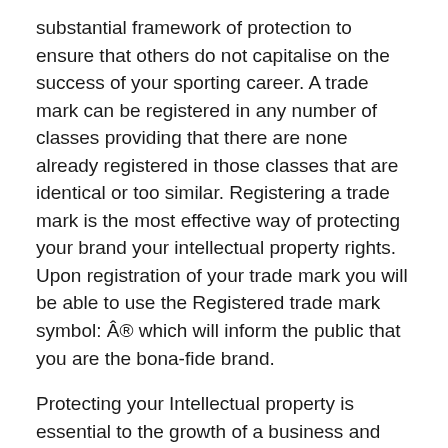substantial framework of protection to ensure that others do not capitalise on the success of your sporting career. A trade mark can be registered in any number of classes providing that there are none already registered in those classes that are identical or too similar. Registering a trade mark is the most effective way of protecting your brand your intellectual property rights. Upon registration of your trade mark you will be able to use the Registered trade mark symbol: Â® which will inform the public that you are the bona-fide brand.
Protecting your Intellectual property is essential to the growth of a business and your brand, and will be the most valuable assets for a company. Guaranteeing legal protection of these assets, as Andy has done, is an important investment. It is imperative to seek appropriate legal advice before embarking on this process to ensure that your application is properly